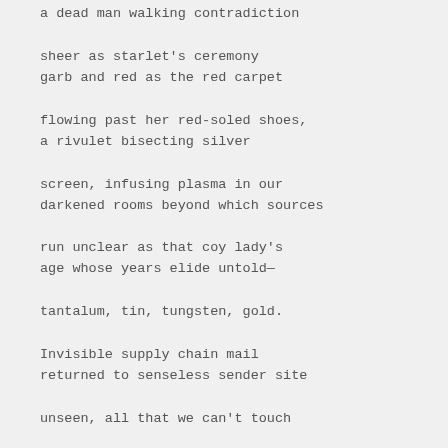a dead man walking contradiction
sheer as starlet's ceremony
garb and red as the red carpet
flowing past her red-soled shoes,
a rivulet bisecting silver
screen, infusing plasma in our
darkened rooms beyond which sources
run unclear as that coy lady's
age whose years elide untold—
tantalum, tin, tungsten, gold.
Invisible supply chain mail
returned to senseless sender site
unseen, all that we can't touch